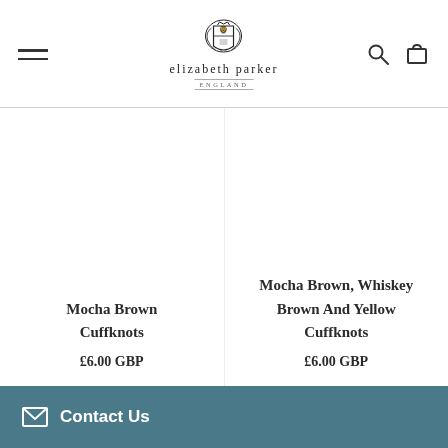elizabeth parker — navigation header with logo, hamburger menu, search and cart icons
Mocha Brown Cuffknots
£6.00 GBP
Mocha Brown, Whiskey Brown And Yellow Cuffknots
£6.00 GBP
Contact Us